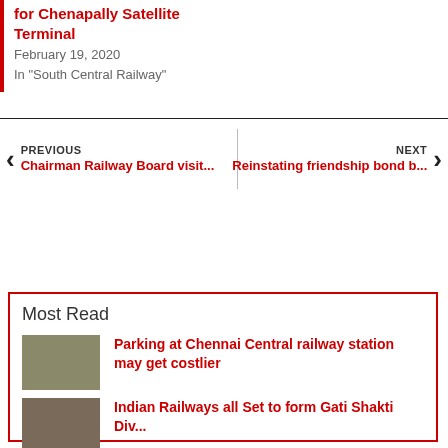for Chenapally Satellite Terminal
February 19, 2020
In "South Central Railway"
PREVIOUS
Chairman Railway Board visit...
NEXT
Reinstating friendship bond b...
Most Read
Parking at Chennai Central railway station may get costlier
Indian Railways all Set to form Gati Shakti Div...